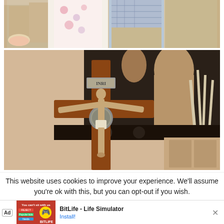[Figure (photo): Family photo showing people seated/standing, partial view of lower bodies, one person wearing floral dress]
[Figure (photo): Close-up photo of a wooden crucifix with silver INRI plaque and Jesus figure, with religious statues in background]
This website uses cookies to improve your experience. We'll assume you're ok with this, but you can opt-out if you wish.
[Figure (screenshot): Advertisement banner: Ad label, BitLife - Life Simulator game ad with red background image, Install button, and X close button]